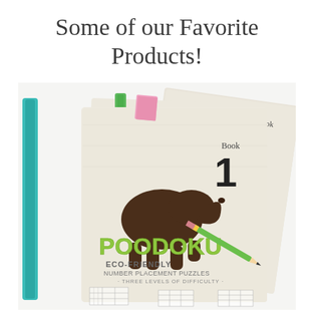Some of our Favorite Products!
[Figure (photo): Three Poodoku eco-friendly number placement puzzle books (Book 1, Book 2, Book 3) with elephant illustrations on covers, fanned out showing their spines (teal, green), with a green pencil resting on top. The front book is labeled 'POODOKU ECO-FRIENDLY NUMBER PLACEMENT PUZZLES - THREE LEVELS OF DIFFICULTY'.]